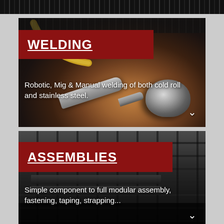[Figure (photo): Close-up of a robotic or MIG welding torch tip approaching a metallic workpiece, dark industrial background with orange/brown tones.]
WELDING
Robotic, Mig & Manual welding of both cold roll and stainless steel.
[Figure (photo): Industrial assembly line showing metal rail components, black frames and tan/gold rails, in a manufacturing setting.]
ASSEMBLIES
Simple component to full modular assembly, fastening, taping, strapping...